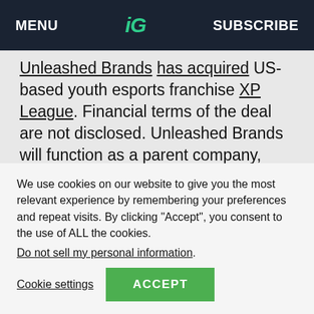MENU  iG  SUBSCRIBE
Unleashed Brands has acquired US-based youth esports franchise XP League. Financial terms of the deal are not disclosed. Unleashed Brands will function as a parent company, while XP League will continue its esports activity for elementary, middle, and high school students.
Czech-based B2B esports betting solutions provider Oddiq acquires Netherlands-based
We use cookies on our website to give you the most relevant experience by remembering your preferences and repeat visits. By clicking “Accept”, you consent to the use of ALL the cookies.
Do not sell my personal information.
Cookie settings  ACCEPT